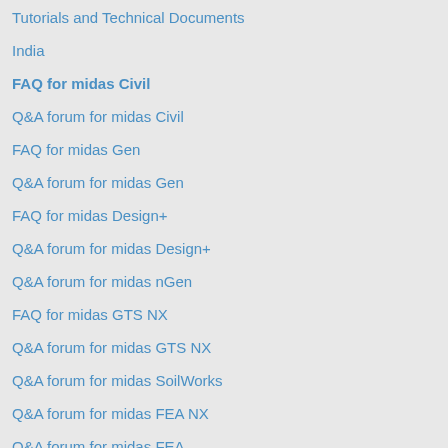Tutorials and Technical Documents
India
FAQ for midas Civil
Q&A forum for midas Civil
FAQ for midas Gen
Q&A forum for midas Gen
FAQ for midas Design+
Q&A forum for midas Design+
Q&A forum for midas nGen
FAQ for midas GTS NX
Q&A forum for midas GTS NX
Q&A forum for midas SoilWorks
Q&A forum for midas FEA NX
Q&A forum for midas FEA